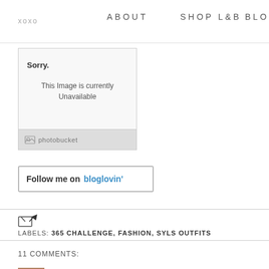xoxo   ABOUT   SHOP L&B   BLO
[Figure (other): Photobucket broken image placeholder with 'Sorry. This Image is currently Unavailable' message]
Follow me on bloglovin'
LABELS: 365 CHALLENGE, FASHION, SYLS OUTFITS
11 COMMENTS:
Mai  Friday, January 14, 2011 at 8:26:00 PM EST
I enter a lot of giveaways but only for the things I really war will make it so I win less of the giveaways that I want if I ent